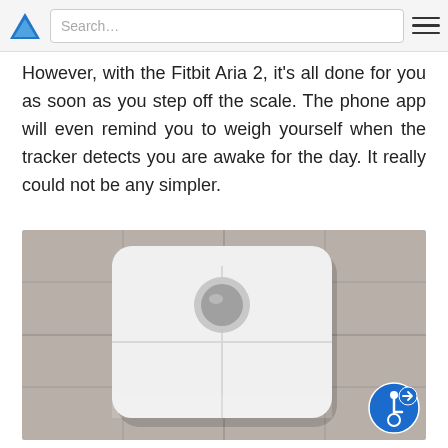Search…
However, with the Fitbit Aria 2, it's all done for you as soon as you step off the scale. The phone app will even remind you to weigh yourself when the tracker detects you are awake for the day. It really could not be any simpler.
[Figure (photo): Top-down view of a white Fitbit Aria 2 smart scale with a circular sensor in the center, placed on grey tile flooring.]